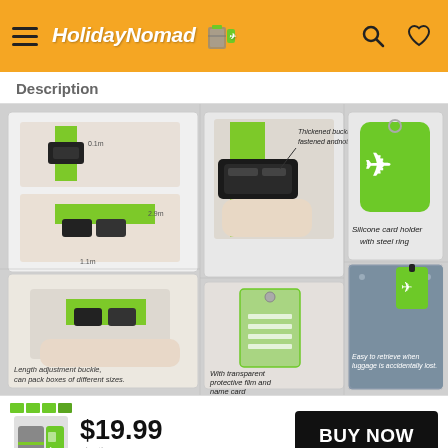HolidayNomad [logo with luggage icon]
Description
[Figure (photo): Product collage showing green luggage strap with buckle details, silicone luggage tags with airplane icon, name card holder with transparent protective film, length adjustment buckle. Text annotations: 'Thickened buckle,be tightly fastened andnot easy to lose', 'Total Length: 6 Feet', 'Length adjustment buckle, can pack boxes of different sizes.', 'With transparent protective film and name card', 'Silicone card holder with steel ring', 'Easy to retrieve when luggage is accidentally lost.']
$19.99
BUY NOW